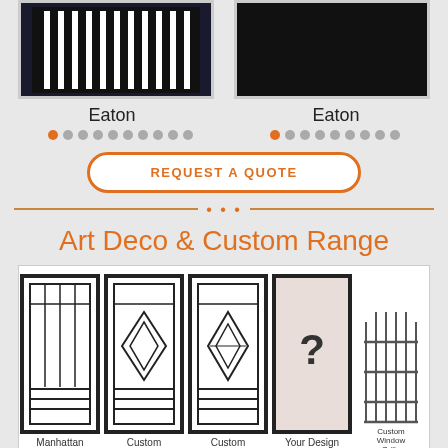[Figure (photo): Two product photos of Eaton doors side by side — left shows a door with horizontal white slats, right shows a dark solid door]
Eaton
Eaton
[Figure (infographic): Two rows of dots (pagination indicators) with first dot orange (active) and rest grey]
[Figure (infographic): REQUEST A QUOTE button with orange border]
[Figure (infographic): Decorative divider with three orange dots in center]
Art Deco & Custom Range
[Figure (illustration): Four door panel designs: Manhattan (geometric grid pattern), Custom (diamond pattern), Custom (diamond pattern), Your Design (question mark placeholder), plus Custom Window Grille illustration]
The Manhattan is our very popular door for Art Deco homes